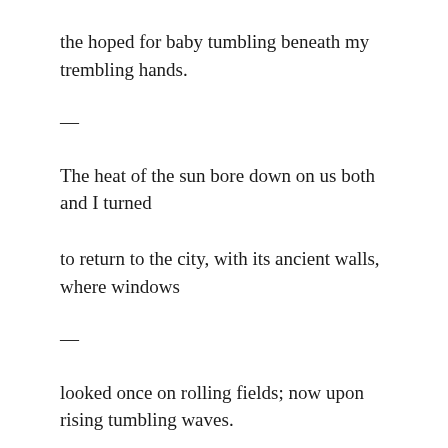the hoped for baby tumbling beneath my trembling hands.
—
The heat of the sun bore down on us both and I turned
to return to the city, with its ancient walls, where windows
—
looked once on rolling fields; now upon rising tumbling waves.
An ancient settlement. Where fish are plenty but land is rare.